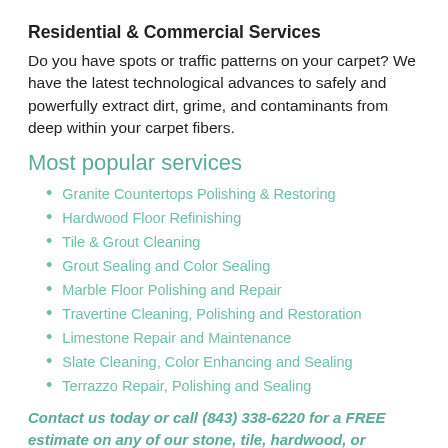Residential & Commercial Services
Do you have spots or traffic patterns on your carpet? We have the latest technological advances to safely and powerfully extract dirt, grime, and contaminants from deep within your carpet fibers.
Most popular services
Granite Countertops Polishing & Restoring
Hardwood Floor Refinishing
Tile & Grout Cleaning
Grout Sealing and Color Sealing
Marble Floor Polishing and Repair
Travertine Cleaning, Polishing and Restoration
Limestone Repair and Maintenance
Slate Cleaning, Color Enhancing and Sealing
Terrazzo Repair, Polishing and Sealing
Contact us today or call (843) 338-6220 for a FREE estimate on any of our stone, tile, hardwood, or